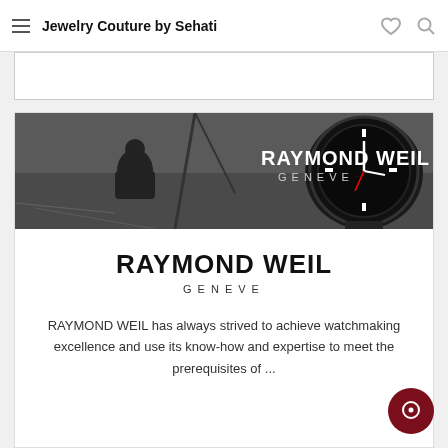Jewelry Couture by Sehati
[Figure (photo): Raymond Weil Geneve banner ad showing a sailor on a racing boat in stormy water and a black dive watch on the right side]
RAYMOND WEIL GENEVE
RAYMOND WEIL has always strived to achieve watchmaking excellence and use its know-how and expertise to meet the prerequisites of ...